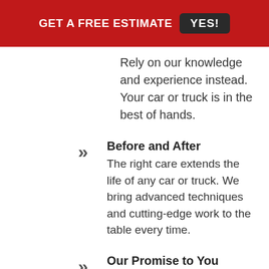GET A FREE ESTIMATE   YES!
Rely on our knowledge and experience instead. Your car or truck is in the best of hands.
Before and After
The right care extends the life of any car or truck. We bring advanced techniques and cutting-edge work to the table every time.
Our Promise to You
We promise to always provide value and outstanding service, regardless of repair size or difficulty.